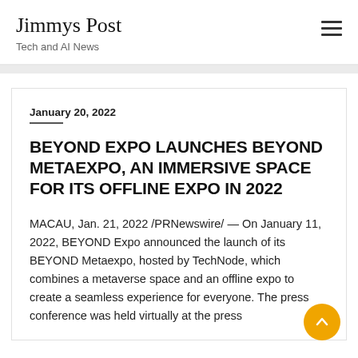Jimmys Post — Tech and AI News
January 20, 2022
BEYOND EXPO LAUNCHES BEYOND METAEXPO, AN IMMERSIVE SPACE FOR ITS OFFLINE EXPO IN 2022
MACAU, Jan. 21, 2022 /PRNewswire/ — On January 11, 2022, BEYOND Expo announced the launch of its BEYOND Metaexpo, hosted by TechNode, which combines a metaverse space and an offline expo to create a seamless experience for everyone. The press conference was held virtually at the press